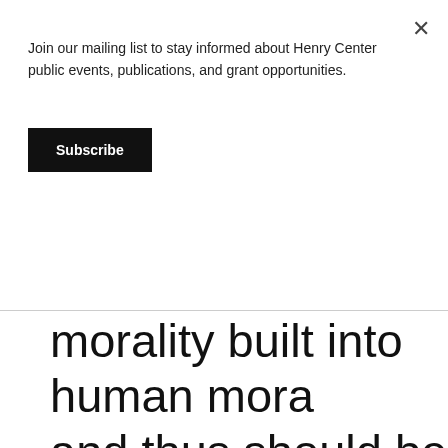Join our mailing list to stay informed about Henry Center public events, publications, and grant opportunities.
Subscribe
morality built into human mora and thus should be part of an e moral science.
Science and the Good is the be of the problem for science in d moral values and anyone who v make the attempt should read